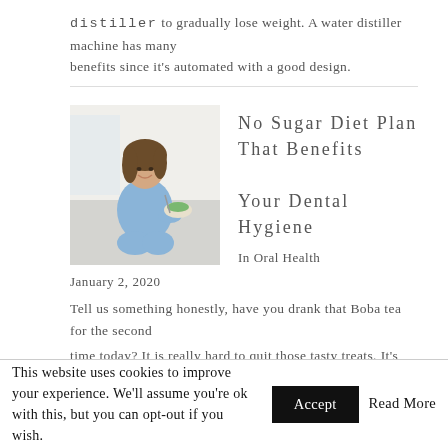distiller to gradually lose weight. A water distiller machine has many benefits since it's automated with a good design.
[Figure (photo): Woman smiling and eating a salad, seated, wearing a blue outfit]
No Sugar Diet Plan That Benefits Your Dental Hygiene
In Oral Health
January 2, 2020
Tell us something honestly, have you drank that Boba tea for the second time today? It is really hard to quit those tasty treats. It's true, and many
This website uses cookies to improve your experience. We'll assume you're ok with this, but you can opt-out if you wish.  Accept  Read More